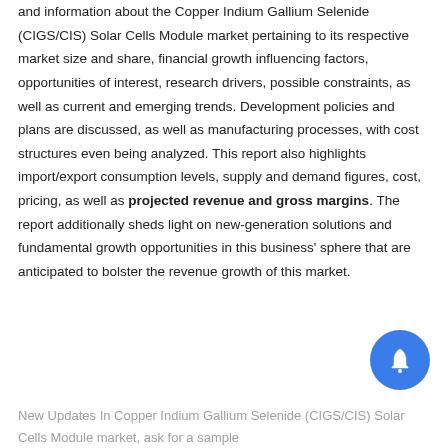and information about the Copper Indium Gallium Selenide (CIGS/CIS) Solar Cells Module market pertaining to its respective market size and share, financial growth influencing factors, opportunities of interest, research drivers, possible constraints, as well as current and emerging trends. Development policies and plans are discussed, as well as manufacturing processes, with cost structures even being analyzed. This report also highlights import/export consumption levels, supply and demand figures, cost, pricing, as well as projected revenue and gross margins. The report additionally sheds light on new-generation solutions and fundamental growth opportunities in this business' sphere that are anticipated to bolster the revenue growth of this market.
New Updates In Copper Indium Gallium Selenide (CIGS/CIS) Solar Cells Module market, ask for a sample